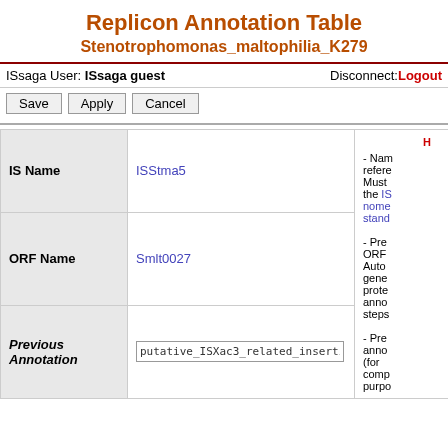Replicon Annotation Table
Stenotrophomonas_maltophilia_K279
ISsaga User: ISsaga guest    Disconnect: Logout
Save  Apply  Cancel
| Field | Value | Help |
| --- | --- | --- |
| IS Name | ISStma5 | Help - Names reference. Must follow the IS nomenclature standard |
| ORF Name | Smlt0027 | Previous ORF Name. Auto-generated protein annotation steps |
| Previous Annotation | putative_ISXac3_related_insertion_element | Previous annotation (for comparison purposes) |